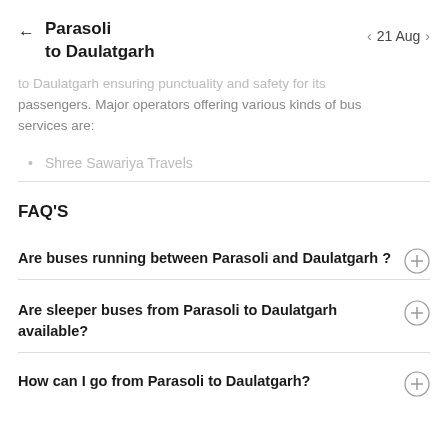Parasoli to Daulatgarh  ←  21 Aug
to Daulatgarh ensuring punctuality and safety for its passengers. Major operators offering various kinds of bus services are:
Shree Sawariya Travels
FAQ'S
Are buses running between Parasoli and Daulatgarh ?
Are sleeper buses from Parasoli to Daulatgarh available?
How can I go from Parasoli to Daulatgarh?